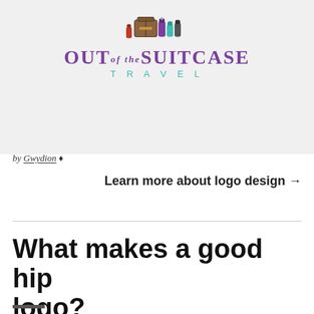[Figure (logo): Out of the Suitcase Travel logo with illustrated luggage and spray cans on grey background. Purple bold text reads OUT of the SUITCASE with teal spaced caps TRAVEL below.]
by Gwydion ♦
Learn more about logo design →
What makes a good hip logo?